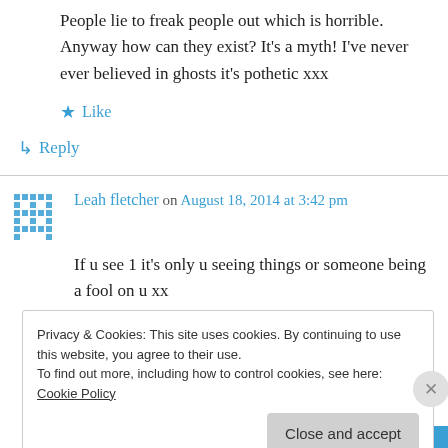People lie to freak people out which is horrible. Anyway how can they exist? It's a myth! I've never ever believed in ghosts it's pothetic xxx
★ Like
↳ Reply
Leah fletcher on August 18, 2014 at 3:42 pm
If u see 1 it's only u seeing things or someone being a fool on u xx
Privacy & Cookies: This site uses cookies. By continuing to use this website, you agree to their use. To find out more, including how to control cookies, see here: Cookie Policy
Close and accept